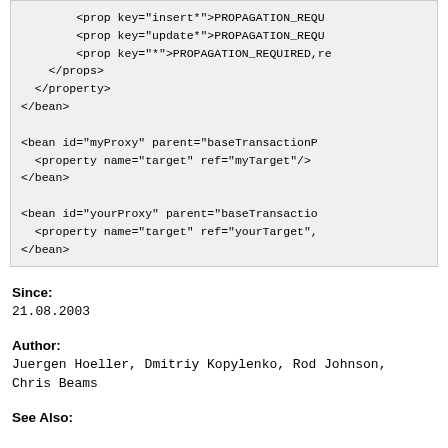<prop key="insert*">PROPAGATION_REQU...
<prop key="update*">PROPAGATION_REQU...
<prop key="*">PROPAGATION_REQUIRED,re
</props>
</property>
</bean>

<bean id="myProxy" parent="baseTransactionP
  <property name="target" ref="myTarget"/>
</bean>

<bean id="yourProxy" parent="baseTransactio
  <property name="target" ref="yourTarget",
</bean>
Since:
21.08.2003
Author:
Juergen Hoeller, Dmitriy Kopylenko, Rod Johnson,
Chris Beams
See Also: